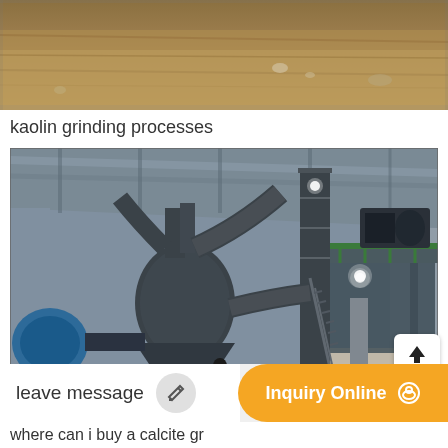[Figure (photo): Top portion of a sandy/dusty ground terrain, brownish-yellow earth with some rocks and debris visible, outdoor scene]
kaolin grinding processes
[Figure (photo): Industrial kaolin grinding facility interior showing large industrial grinding machines, pipes, cyclone separators, conveyor structures, steel framework, and two workers visible. The facility is inside a large corrugated metal roof building.]
leave message
Inquiry Online
where can i buy a calcite gr